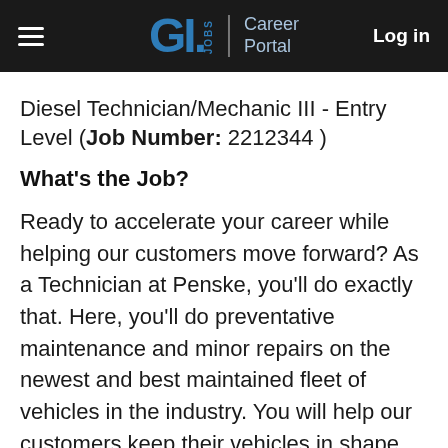GI.JOBS | Career Portal  Log in
Diesel Technician/Mechanic III - Entry Level (Job Number: 2212344 )
What's the Job?
Ready to accelerate your career while helping our customers move forward? As a Technician at Penske, you'll do exactly that. Here, you'll do preventative maintenance and minor repairs on the newest and best maintained fleet of vehicles in the industry. You will help our customers keep their vehicles in shape